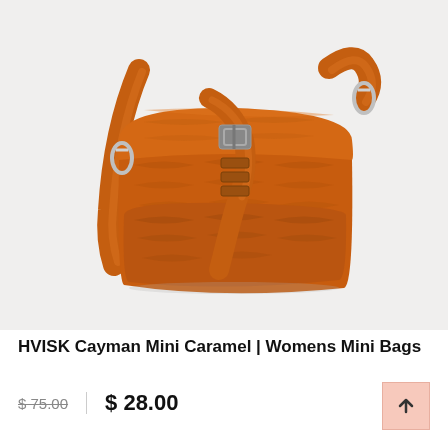[Figure (photo): Orange caramel croc-embossed mini crossbody bag (HVISK Cayman Mini Caramel) with silver hardware, buckle strap detail, front pocket, and adjustable shoulder strap, photographed on a light grey background.]
HVISK Cayman Mini Caramel | Womens Mini Bags
$ 75.00  |  $ 28.00